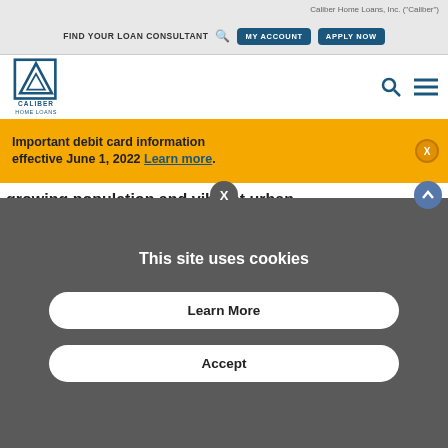Caliber Home Loans, Inc. ("Caliber")
FIND YOUR LOAN CONSULTANT  MY ACCOUNT  APPLY NOW
[Figure (logo): Caliber Home Loans logo with triangular arrow icon]
growing population and vibrant urban
Important debit card information effective June 1, 2022 Learn more.
This site uses cookies
Learn More
Accept
market